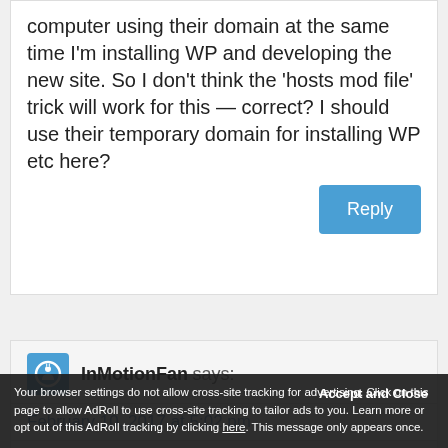computer using their domain at the same time I'm installing WP and developing the new site. So I don't think the 'hosts mod file' trick will work for this — correct? I should use their temporary domain for installing WP etc here?
Reply
InMotionFan says:
February 10, 2017 at 5:02 pm
You could certainly use a host file mod, but this would involve changing the browser cache every time you wanted
Accept and Close
Your browser settings do not allow cross-site tracking for advertising. Click on this page to allow AdRoll to use cross-site tracking to tailor ads to you. Learn more or opt out of this AdRoll tracking by clicking here. This message only appears once.